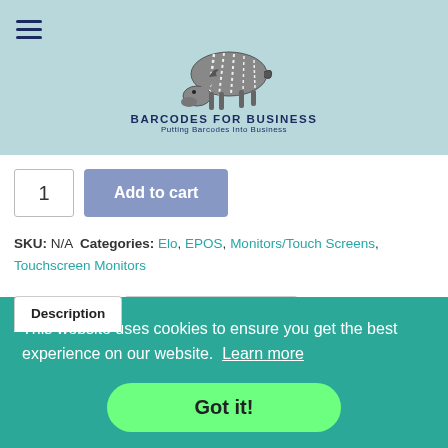[Figure (logo): Zebra/horse illustration with 'BARCODES FOR BUSINESS - Putting Barcodes Into Business' text on a light blue header background]
1
Add to cart
SKU: N/A  Categories: Elo, EPOS, Monitors/Touch Screens, Touchscreen Monitors
Description | Additional information (tabs)
This website uses cookies to ensure you get the best experience on our website. Learn more
Got it!